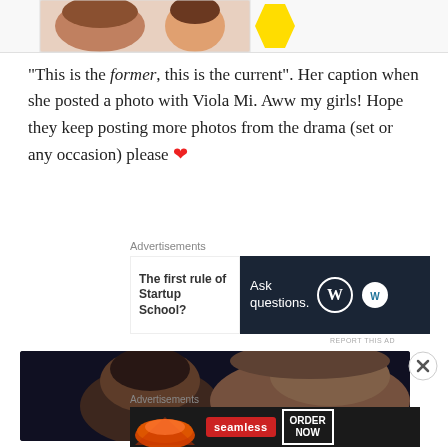[Figure (photo): Partial photo strip at top showing faces of young women with colorful decorative elements]
“This is the former, this is the current”. Her caption when she posted a photo with Viola Mi. Aww my girls! Hope they keep posting more photos from the drama (set or any occasion) please ❤
Advertisements
[Figure (screenshot): Ad banner: left side shows text 'The first rule of Startup School?', right side dark background with 'Ask questions.' and WordPress logo]
REPORT THIS AD
[Figure (photo): Photo of two people: a young Asian man with dark hair smiling, and another person on the right, dark moody tones]
Advertisements
[Figure (screenshot): Seamless food delivery ad: pizza image, seamless logo in red, ORDER NOW button]